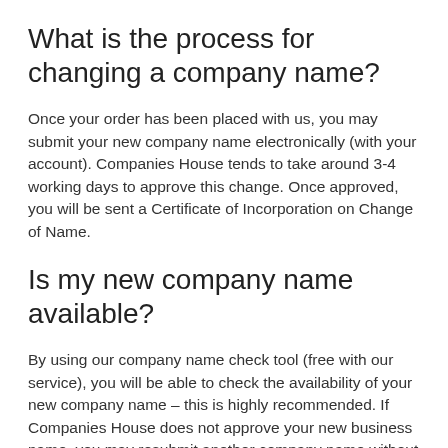What is the process for changing a company name?
Once your order has been placed with us, you may submit your new company name electronically (with your account). Companies House tends to take around 3-4 working days to approve this change. Once approved, you will be sent a Certificate of Incorporation on Change of Name.
Is my new company name available?
By using our company name check tool (free with our service), you will be able to check the availability of your new company name – this is highly recommended. If Companies House does not approve your new business name, you may resubmit another company name without any additional costs.